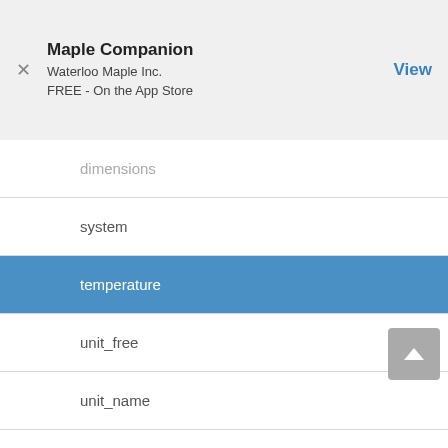Maple Companion
Waterloo Maple Inc.
FREE - On the App Store
dimensions
system
temperature
unit_free
unit_name
units
windchill
+ Verifications
+ Unit Converter Subpackage